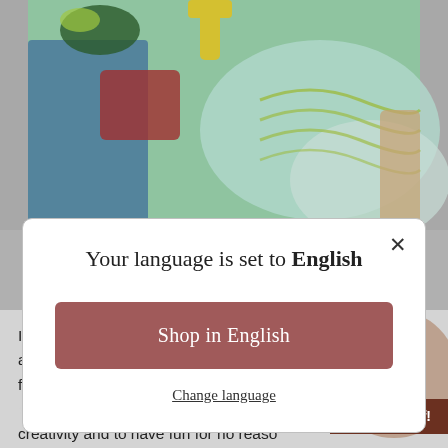[Figure (illustration): Colorful painting/illustration visible at top of page showing figures with blue, red, green, and yellow colors, partially obscured by modal dialog]
Your language is set to English
Shop in English
Change language
Invoke this Goddess through communal rituals to bring and your tribe an abundance of whatever it is you're from her. If you're feeling stuck she can help you to find your creativity and to have fun for no reaso
Get 10% Off!